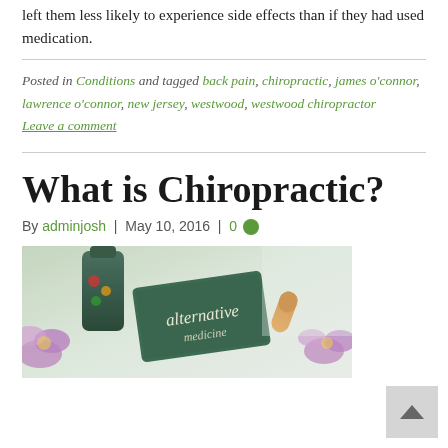left them less likely to experience side effects than if they had used medication.
Posted in Conditions and tagged back pain, chiropractic, james o'connor, lawrence o'connor, new jersey, westwood, westwood chiropractor
Leave a comment
What is Chiropractic?
By adminjosh | May 10, 2016 | 0
[Figure (photo): Photo of alternative medicine items including a dark bottle, chalkboard sign reading 'alternative', purple flowers, and an orange pill/capsule on a light background]